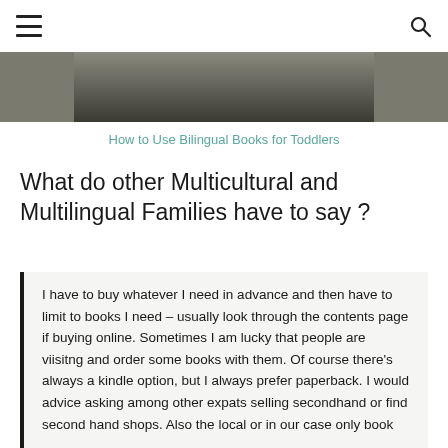[Figure (photo): Partial image of a book or person, cropped at top, dark tones]
How to Use Bilingual Books for Toddlers
What do other Multicultural and Multilingual Families have to say ?
I have to buy whatever I need in advance and then have to limit to books I need – usually look through the contents page if buying online. Sometimes I am lucky that people are viisitng and order some books with them. Of course there's always a kindle option, but I always prefer paperback. I would advice asking among other expats selling secondhand or find second hand shops. Also the local or in our case only book